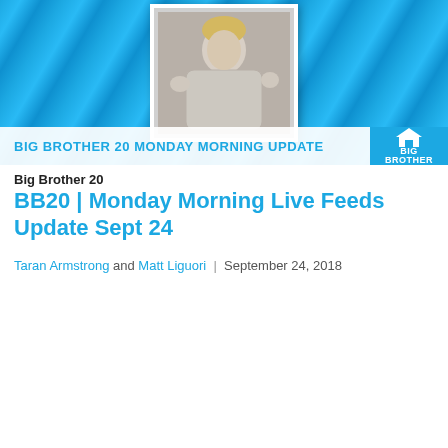[Figure (photo): Big Brother 20 Monday Morning Update banner with person posing in floral shirt and Big Brother logo]
Big Brother 20
BB20 | Monday Morning Live Feeds Update Sept 24
Taran Armstrong and Matt Liguori  |  September 24, 2018
[Figure (photo): Big Brother 20 Sunday Morning Update banner dated Sept 23, 2018 with person in pink shirt making rock gestures, holding emoji pillow]